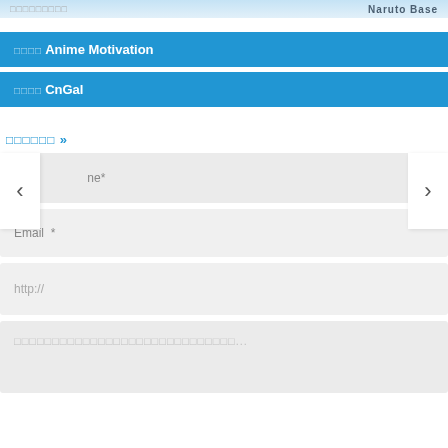□□□□□□□□□   Naruto Base
□□□□Anime Motivation
□□□□CnGal
□□□□□□ »
ne *
Email *
http://
□□□□□□□□□□□□□□□□□□□□□□□□□□□□□...